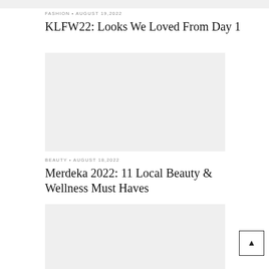[Figure (photo): Partial gray image placeholder at the top of the page]
FASHION • AUGUST 19,2022
KLFW22: Looks We Loved From Day 1
[Figure (photo): Gray image placeholder for KLFW22 article]
BEAUTY • AUGUST 18,2022
Merdeka 2022: 11 Local Beauty & Wellness Must Haves
[Figure (photo): Gray image placeholder for Merdeka 2022 beauty article (partially visible)]